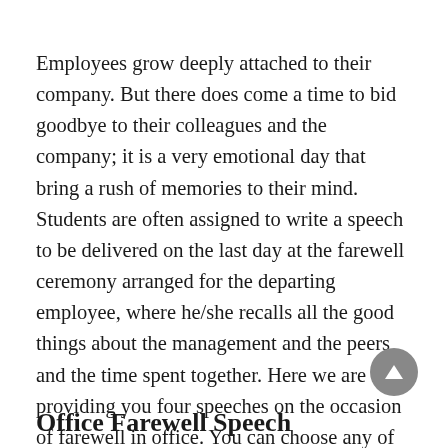Employees grow deeply attached to their company. But there does come a time to bid goodbye to their colleagues and the company; it is a very emotional day that bring a rush of memories to their mind. Students are often assigned to write a speech to be delivered on the last day at the farewell ceremony arranged for the departing employee, where he/she recalls all the good things about the management and the peers and the time spent together. Here we are providing you four speeches on the occasion of farewell in office. You can choose any of them as per your requirement.
Office Farewell Speech